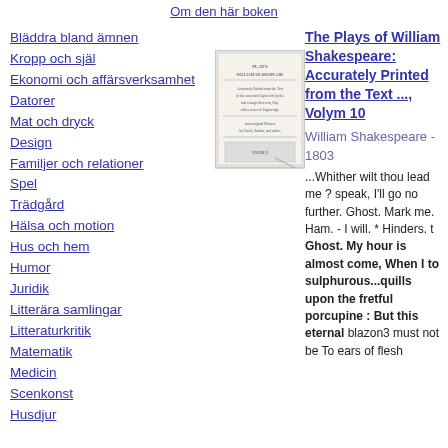Om den här boken
Bläddra bland ämnen
Kropp och själ
Ekonomi och affärsverksamhet
Datorer
Mat och dryck
Design
Familjer och relationer
Spel
Trädgård
Hälsa och motion
Hus och hem
Humor
Juridik
Litterära samlingar
Litteraturkritik
Matematik
Medicin
Scenkonst
Husdjur
[Figure (photo): Book cover of The Plays of William Shakespeare, Volume 10]
The Plays of William Shakespeare: Accurately Printed from the Text ..., Volym 10
William Shakespeare - 1803
...Whither wilt thou lead me ? speak, I'll go no further. Ghost. Mark me. Ham. - I will. * Hinders. t Ghost. My hour is almost come, When I to sulphurous...quills upon the fretful porcupine : But this eternal blazon3 must not be To ears of flesh